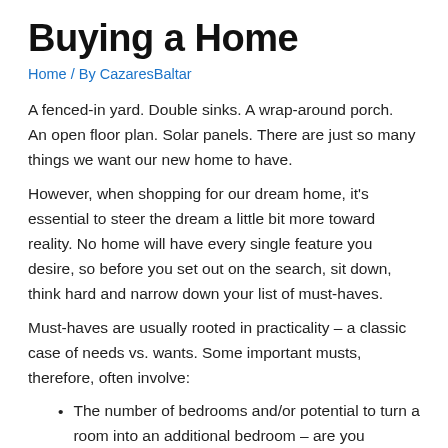Buying a Home
Home / By CazaresBaltar
A fenced-in yard. Double sinks. A wrap-around porch.  An open floor plan. Solar panels. There are just so many things we want our new home to have.
However, when shopping for our dream home, it's essential to steer the dream a little bit more toward reality. No home will have every single feature you desire, so before you set out on the search, sit down, think hard and narrow down your list of must-haves.
Must-haves are usually rooted in practicality – a classic case of needs vs. wants. Some important musts, therefore, often involve:
The number of bedrooms and/or potential to turn a room into an additional bedroom – are you planning on children?